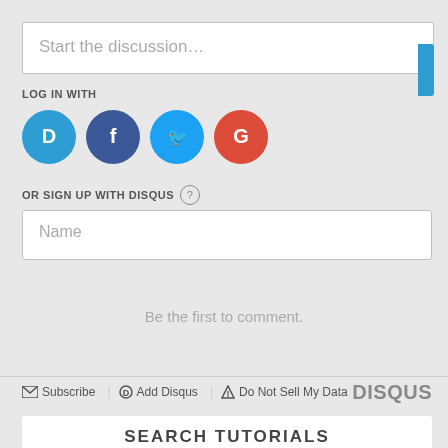Start the discussion…
LOG IN WITH
[Figure (illustration): Four social login icons: Disqus (blue), Facebook (dark blue), Twitter (light blue), Google (red)]
OR SIGN UP WITH DISQUS ?
Name
Be the first to comment.
Subscribe  Add Disqus  Do Not Sell My Data  DISQUS
SEARCH TUTORIALS